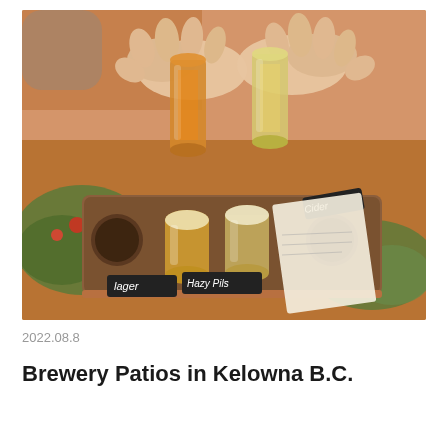[Figure (photo): A photo of hands clinking small beer tasting glasses (a beer flight) above a wooden paddle tray with multiple sample glasses and chalkboard labels reading 'Lager', 'Hazy Pils', and 'Cider'. A salad and menu are visible in the background on a wooden table.]
2022.08.8
Brewery Patios in Kelowna B.C.